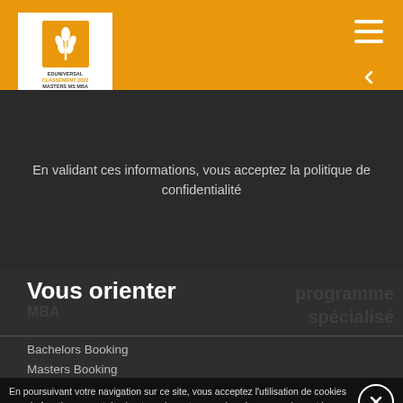[Figure (logo): Eduniversal Classement 2022 Masters MS MBA logo with wheat icon on orange background, white box]
En validant ces informations, vous acceptez la politique de confidentialité
Vous orienter
Bachelors Booking
Masters Booking
En poursuivant votre navigation sur ce site, vous acceptez l'utilisation de cookies pour le fonctionnement des boutons de partage sur les réseaux sociaux et la mesure d'audience des pages du site. Pour mieux comprendre notre politique de protection de votre vie privée, rendez-vous ici.